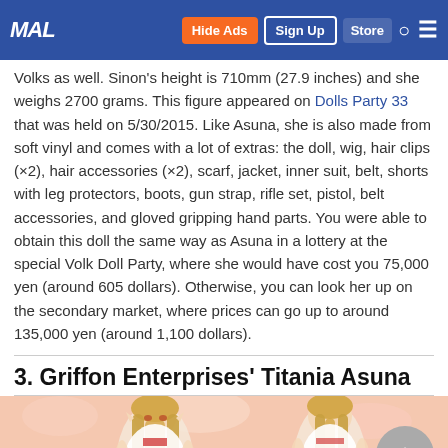MAL | Hide Ads | Sign Up | Store | Search | Menu
Volks as well. Sinon's height is 710mm (27.9 inches) and she weighs 2700 grams. This figure appeared on Dolls Party 33 that was held on 5/30/2015. Like Asuna, she is also made from soft vinyl and comes with a lot of extras: the doll, wig, hair clips (×2), hair accessories (×2), scarf, jacket, inner suit, belt, shorts with leg protectors, boots, gun strap, rifle set, pistol, belt accessories, and gloved gripping hand parts. You were able to obtain this doll the same way as Asuna in a lottery at the special Volk Doll Party, where she would have cost you 75,000 yen (around 605 dollars). Otherwise, you can look her up on the secondary market, where prices can go up to around 135,000 yen (around 1,100 dollars).
3. Griffon Enterprises' Titania Asuna
[Figure (photo): Two anime figures of Titania Asuna (from Sword Art Online) shown side by side against a pink floral background. Left figure shows Asuna facing forward with long blonde hair and pointed ears. Right figure shows the back view of Asuna with braided hair.]